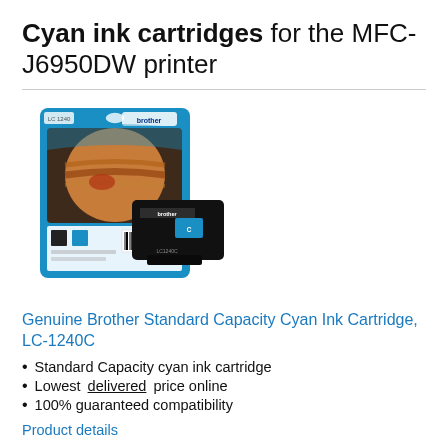Cyan ink cartridges for the MFC-J6950DW printer
[Figure (photo): Product photo of Brother cyan ink cartridge LC-1240C in packaging, showing the ink cartridge unit and its retail blister pack with a planet/Jupiter image on the front.]
Genuine Brother Standard Capacity Cyan Ink Cartridge, LC-1240C
Standard Capacity cyan ink cartridge
Lowest delivered price online
100% guaranteed compatibility
Product details
£9.16 (£10.99 inc VAT)